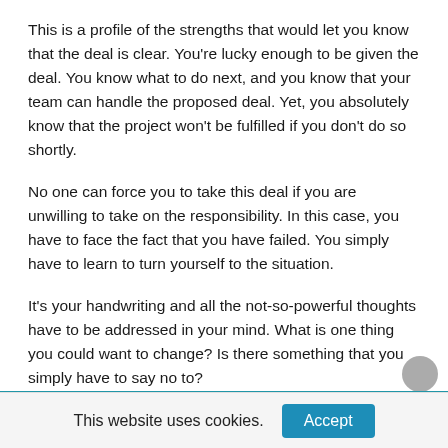This is a profile of the strengths that would let you know that the deal is clear. You're lucky enough to be given the deal. You know what to do next, and you know that your team can handle the proposed deal. Yet, you absolutely know that the project won't be fulfilled if you don't do so shortly.
No one can force you to take this deal if you are unwilling to take on the responsibility. In this case, you have to face the fact that you have failed. You simply have to learn to turn yourself to the situation.
It's your handwriting and all the not-so-powerful thoughts have to be addressed in your mind. What is one thing you could want to change? Is there something that you simply have to say no to?
This website uses cookies.
Accept